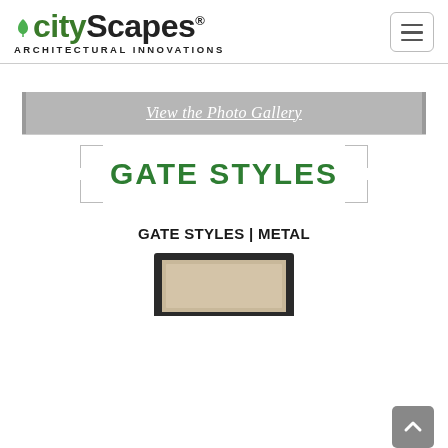CityScapes ARCHITECTURAL INNOVATIONS
View the Photo Gallery
GATE STYLES
GATE STYLES | METAL
[Figure (photo): Partial view of a metal gate product at the bottom of the page]